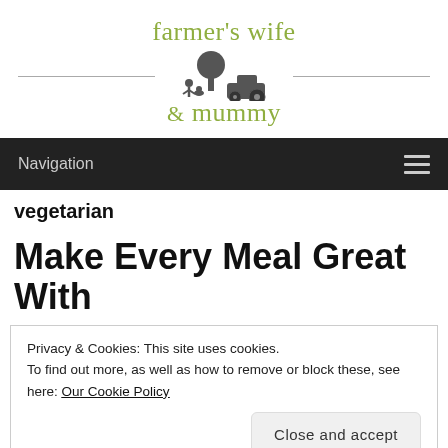[Figure (logo): Farmer's wife & mummy blog logo with green cursive text and silhouette farm scene]
Navigation
vegetarian
Make Every Meal Great With
Privacy & Cookies: This site uses cookies. To find out more, as well as how to remove or block these, see here: Our Cookie Policy
Close and accept
[Figure (photo): Colorful vegetables photo strip at bottom]